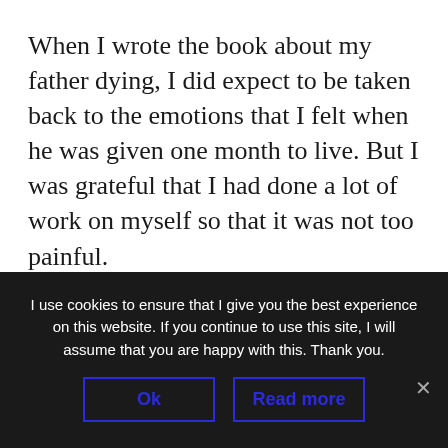When I wrote the book about my father dying, I did expect to be taken back to the emotions that I felt when he was given one month to live. But I was grateful that I had done a lot of work on myself so that it was not too painful.
I wasn't writing for the sake of sharing my pain; I had a message to share, which is that death is not the end. My book's purpose is to show that there is another way to see death and to start a
I use cookies to ensure that I give you the best experience on this website. If you continue to use this site, I will assume that you are happy with this. Thank you.